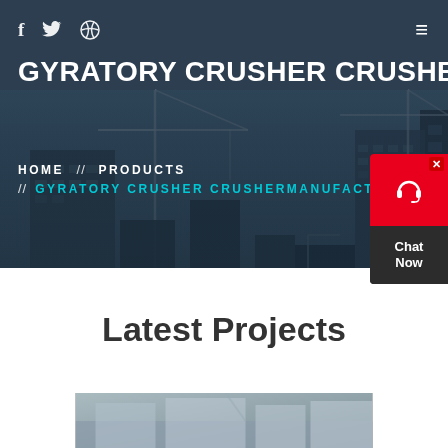[Figure (screenshot): Website screenshot showing a gyratory crusher manufacturer product page with construction site hero image, navigation bar with social media icons, page title, breadcrumb navigation, chat widget, Latest Projects section heading, and partial project image.]
f  [twitter]  [dribbble]  ≡
GYRATORY CRUSHER CRUSHERM
HOME  //  PRODUCTS
//  GYRATORY CRUSHER CRUSHERMANUFACTURE
Latest Projects